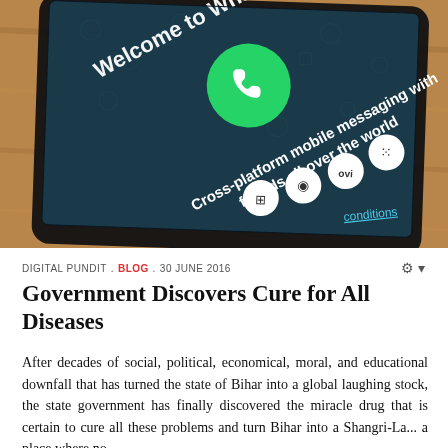[Figure (photo): Smartphone displaying WhatsApp welcome screen with green WhatsApp logo, text 'Welcome to WhatsApp', 'Cross-platform mobile messaging with friends all over the world', and platform icons including BlackBerry, Ovi, Android, Windows Phone. Phone resting on wooden surface.]
DIGITAL PUNDIT . BLOG . 30 JUNE 2016
Government Discovers Cure for All Diseases
After decades of social, political, economical, moral, and educational downfall that has turned the state of Bihar into a global laughing stock, the state government has finally discovered the miracle drug that is certain to cure all these problems and turn Bihar into a Shangri-La... a place where no